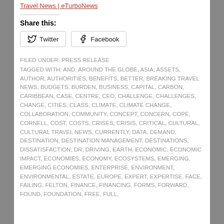Travel News | eTurboNews
Share this:
Twitter  Facebook
FILED UNDER: PRESS RELEASE
TAGGED WITH: AND, AROUND THE GLOBE, ASIA, ASSETS, AUTHOR, AUTHORITIES, BENEFITS, BETTER, BREAKING TRAVEL NEWS, BUDGETS, BURDEN, BUSINESS, CAPITAL, CARBON, CARIBBEAN, CASE, CENTRE, CEO, CHALLENGE, CHALLENGES, CHANGE, CITIES, CLASS, CLIMATE, CLIMATE CHANGE, COLLABORATION, COMMUNITY, CONCEPT, CONCERN, COPE, CORNELL, COST, COSTS, CRISES, CRISIS, CRITICAL, CULTURAL, CULTURAL TRAVEL NEWS, CURRENTLY, DATA, DEMAND, DESTINATION, DESTINATION MANAGEMENT, DESTINATIONS, DISSATISFACTION, DR, DRIVING, EARTH, ECONOMIC, ECONOMIC IMPACT, ECONOMIES, ECONOMY, ECOSYSTEMS, EMERGING, EMERGING ECONOMIES, ENTERPRISE, ENVIRONMENT, ENVIRONMENTAL, ESTATE, EUROPE, EXPERT, EXPERTISE, FACE, FAILING, FELTON, FINANCE, FINANCING, FORMS, FORWARD, FOUND, FOUNDATION, FREE, FULL,